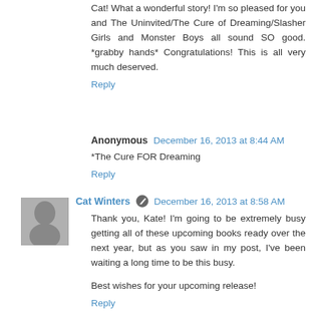Cat! What a wonderful story! I'm so pleased for you and The Uninvited/The Cure of Dreaming/Slasher Girls and Monster Boys all sound SO good. *grabby hands* Congratulations! This is all very much deserved.
Reply
Anonymous  December 16, 2013 at 8:44 AM
*The Cure FOR Dreaming
Reply
Cat Winters  December 16, 2013 at 8:58 AM
Thank you, Kate! I'm going to be extremely busy getting all of these upcoming books ready over the next year, but as you saw in my post, I've been waiting a long time to be this busy.

Best wishes for your upcoming release!
Reply